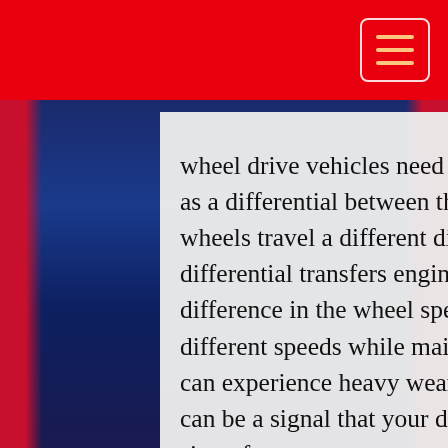wheel drive vehicles need a differential between each set of wheels as well as a differential between the front and back wheels because the front wheels travel a different distance through a turn than the rear wheels. The differential transfers engine power to the wheels and adjusts to the difference in the wheel speed. The differential allows the wheels to turn at different speeds while maintaining control of the vehicle. The differential can experience heavy wear and tear. Noise coming from the differential can be a signal that your differential fluid may need serviced, or it can be a sign of